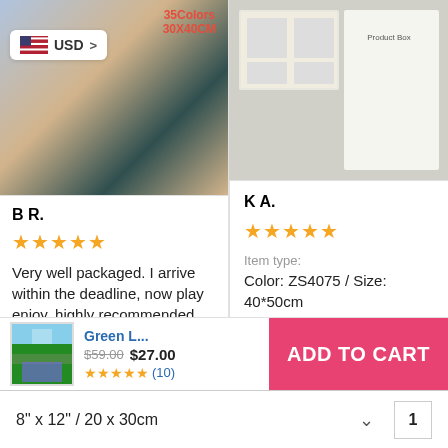[Figure (photo): Product photo showing paint by numbers kit packaging with paper sheets, left column top]
USD >
35Colors
30X40CM
B R.
★★★★★
Very well packaged. I arrive within the deadline, now play enjoy, highly recommended
[Figure (photo): Product photo showing paint by numbers kit box packaging, right column top]
K A.
★★★★★
Item type:
Color: ZS4075 / Size: 40*50cm
[Figure (photo): Small product thumbnail showing green landscape painting]
Green L...
$59.00
$27.00
★★★★★ (10)
ADD TO CART
8" x 12" / 20 x 30cm
1